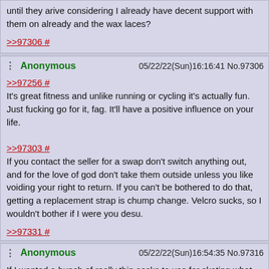until they arive considering I already have decent support with them on already and the wax laces?
>>97306 #
Anonymous 05/22/22(Sun)16:16:41 No.97306
>>97256 #
It's great fitness and unlike running or cycling it's actually fun. Just fucking go for it, fag. It'll have a positive influence on your life.
>>97303 #
If you contact the seller for a swap don't switch anything out, and for the love of god don't take them outside unless you like voiding your right to return. If you can't be bothered to do that, getting a replacement strap is chump change. Velcro sucks, so I wouldn't bother if I were you desu.
>>97331 #
Anonymous 05/22/22(Sun)16:54:35 No.97316
If I wanted a bunch of really thin socks to use for skating what would be the most poverty way to get them? I I'm legit thinking of checking if a local Goodwill sells a bunch of dress socks.
Anonymous 05/22/22(Sun)18:00:51 No.97331